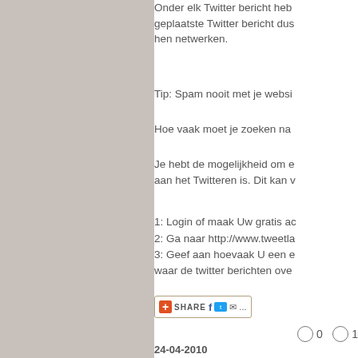Onder elk Twitter bericht heb... geplaatste Twitter bericht dus... hen netwerken.
Tip: Spam nooit met je websi...
Hoe vaak moet je zoeken na...
Je hebt de mogelijkheid om e... aan het Twitteren is. Dit kan v...
1: Login of maak Uw gratis ac...
2: Ga naar http://www.tweetla...
3: Geef aan hoevaak U een e... waar de twitter berichten ove...
[Figure (other): Share button with Facebook, Twitter, email icons]
○ 0   ○ 1
24-04-2010